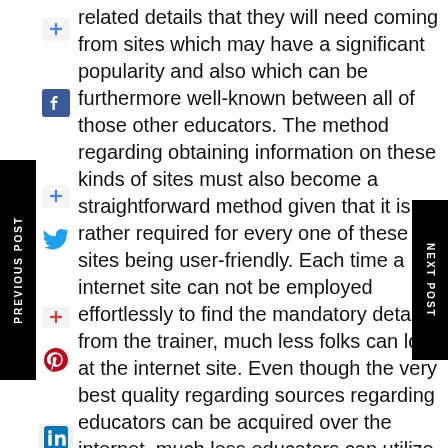related details that they will need coming from sites which may have a significant popularity and also which can be furthermore well-known between all of those other educators. The method regarding obtaining information on these kinds of sites must also become a straightforward method given that it is rather required for every one of these sites being user-friendly. Each time a internet site can not be employed effortlessly to find the mandatory details from the trainer, much less folks can look at the internet site. Even though the very best quality regarding sources regarding educators can be acquired over the internet, much less educators can utilize internet site considering that the means of being able to view the particular accessible details is fairly challenging.